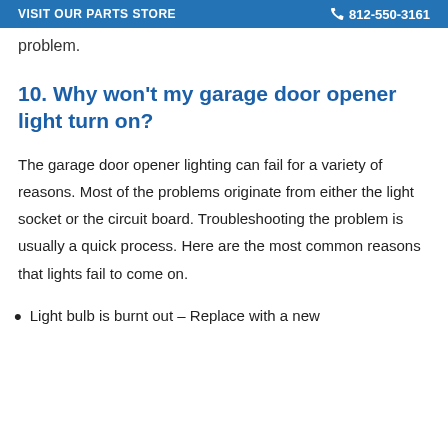VISIT OUR PARTS STORE   812-550-3161
problem.
10. Why won't my garage door opener light turn on?
The garage door opener lighting can fail for a variety of reasons. Most of the problems originate from either the light socket or the circuit board. Troubleshooting the problem is usually a quick process. Here are the most common reasons that lights fail to come on.
Light bulb is burnt out – Replace with a new